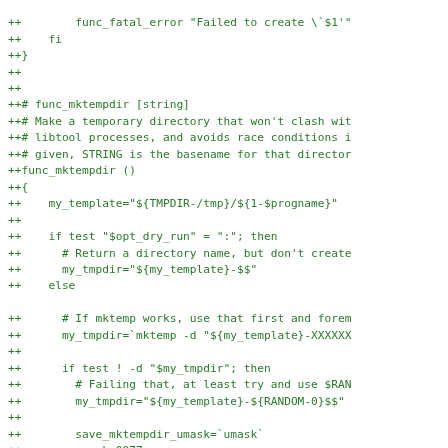[Figure (other): Code diff snippet showing shell script functions for directory creation and func_mktempdir, with added lines prefixed by '++' in green monospace font]